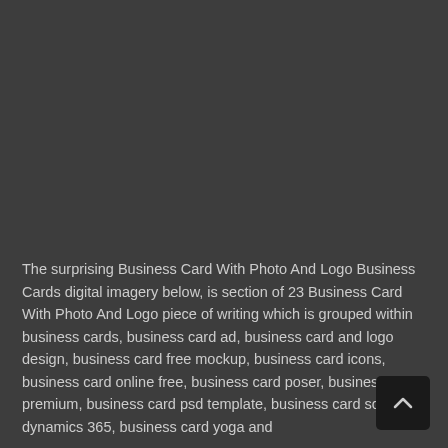[Figure (other): Dark grey background area occupying the upper portion of the page]
The surprising Business Card With Photo And Logo Business Cards digital imagery below, is section of 23 Business Card With Photo And Logo piece of writing which is grouped within business cards, business card ad, business card and logo design, business card free mockup, business card icons, business card online free, business card poser, business card premium, business card psd template, business card scanner dynamics 365, business card yoga and